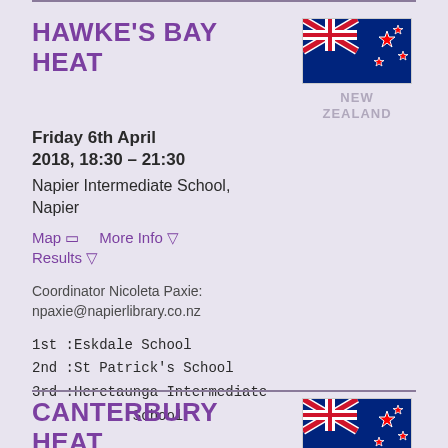HAWKE'S BAY HEAT
[Figure (illustration): New Zealand flag with label 'NEW ZEALAND']
Friday 6th April 2018, 18:30 – 21:30
Napier Intermediate School, Napier
Map  More Info
Results
Coordinator Nicoleta Paxie: npaxie@napierlibrary.co.nz
1st : Eskdale School
2nd : St Patrick's School
3rd : Heretaunga Intermediate School
CANTERBURY HEAT
[Figure (illustration): New Zealand flag (partial, second section)]